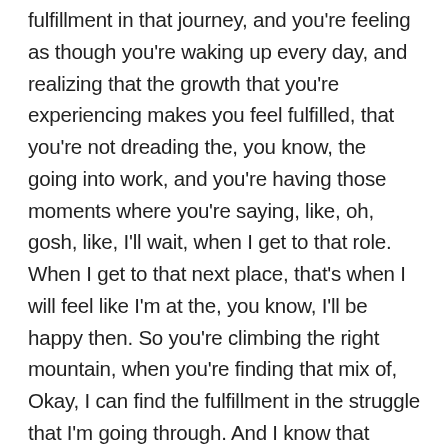fulfillment in that journey, and you're feeling as though you're waking up every day, and realizing that the growth that you're experiencing makes you feel fulfilled, that you're not dreading the, you know, the going into work, and you're having those moments where you're saying, like, oh, gosh, like, I'll wait, when I get to that role. When I get to that next place, that's when I will feel like I'm at the, you know, I'll be happy then. So you're climbing the right mountain, when you're finding that mix of, Okay, I can find the fulfillment in the struggle that I'm going through. And I know that that's struggle is part of the growth process.